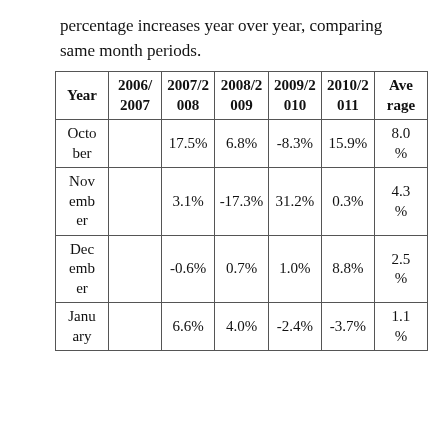percentage increases year over year, comparing same month periods.
| Year | 2006/2007 | 2007/2008 | 2008/2009 | 2009/2010 | 2010/2011 | Average |
| --- | --- | --- | --- | --- | --- | --- |
| October |  | 17.5% | 6.8% | -8.3% | 15.9% | 8.0% |
| November |  | 3.1% | -17.3% | 31.2% | 0.3% | 4.3% |
| December |  | -0.6% | 0.7% | 1.0% | 8.8% | 2.5% |
| January |  | 6.6% | 4.0% | -2.4% | -3.7% | 1.1% |